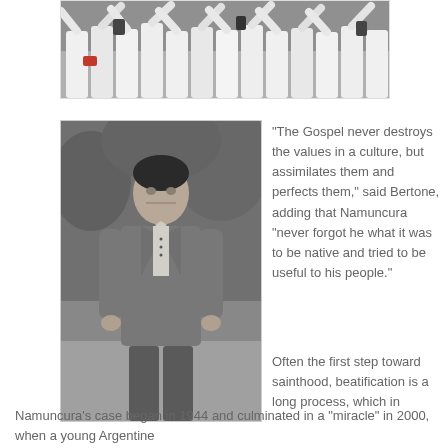[Figure (photo): Crowd of people in white shirts seen from behind with arms raised]
[Figure (photo): Black and white portrait photo of a young man (Namuncura) in a suit standing outdoors]
"The Gospel never destroys the values in a culture, but assimilates them and perfects them," said Bertone, adding that Namuncura "never forgot he what it was to be native and tried to be useful to his people."
Often the first step toward sainthood, beatification is a long process, which in Namuncura's case began in 1944 and culminated in a "miracle" in 2000, when a young Argentine